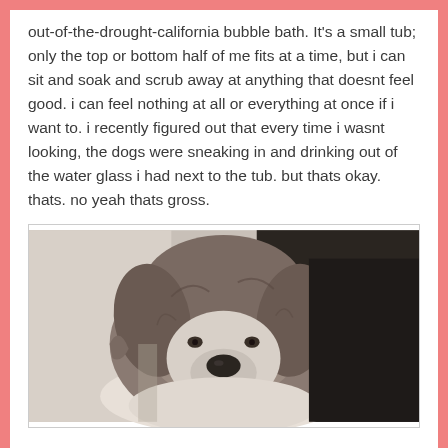out-of-the-drought-california bubble bath. It's a small tub; only the top or bottom half of me fits at a time, but i can sit and soak and scrub away at anything that doesnt feel good. i can feel nothing at all or everything at once if i want to. i recently figured out that every time i wasnt looking, the dogs were sneaking in and drinking out of the water glass i had next to the tub. but thats okay. thats. no yeah thats gross.
[Figure (photo): A fluffy gray and white dog looking at the camera, with long shaggy fur, sitting in front of what appears to be a dark background.]